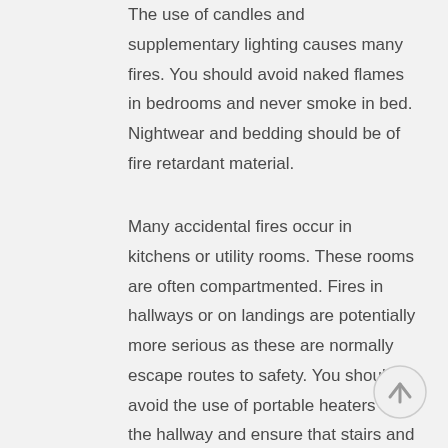The use of candles and supplementary lighting causes many fires. You should avoid naked flames in bedrooms and never smoke in bed. Nightwear and bedding should be of fire retardant material.
Many accidental fires occur in kitchens or utility rooms. These rooms are often compartmented. Fires in hallways or on landings are potentially more serious as these are normally escape routes to safety. You should avoid the use of portable heaters in the hallway and ensure that stairs and halls
[Figure (other): A circular scroll-to-top button with an upward arrow, grey outline and light background, positioned at the bottom right of the page.]